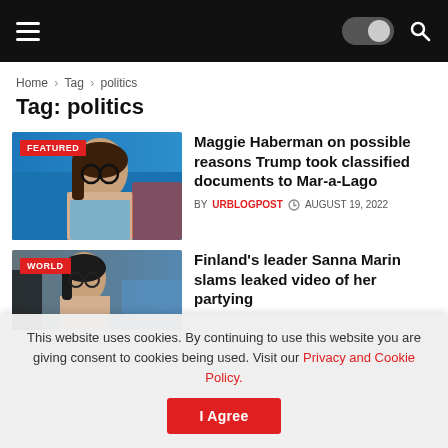Navigation header with hamburger menu, dark mode toggle, and search icon
Home > Tag > politics
Tag: politics
[Figure (photo): Woman with glasses on TV set, FEATURED badge]
Maggie Haberman on possible reasons Trump took classified documents to Mar-a-Lago
BY URBLOGPOST  AUGUST 19, 2022
[Figure (photo): Woman in formal setting, WORLD badge]
Finland's leader Sanna Marin slams leaked video of her partying
This website uses cookies. By continuing to use this website you are giving consent to cookies being used. Visit our Privacy and Cookie Policy.
I Agree